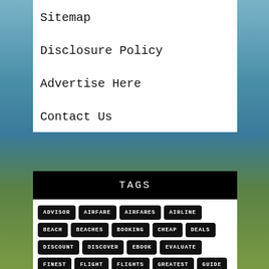Sitemap
Disclosure Policy
Advertise Here
Contact Us
TAGS
ADVISOR
AIRFARE
AIRFARES
AIRLINE
BEACH
BEACHES
BOOKING
CHEAP
DEALS
DISCOUNT
DISCOVER
EBOOK
EVALUATE
FINEST
FLIGHT
FLIGHTS
GREATEST
GUIDE
HOLIDAY
HOLIDAYS
HOTELS
INDIA
INFORMATION
JOURNEY
LODGE